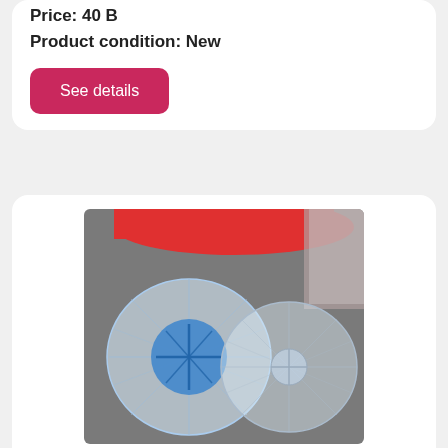Price: 40 B
Product condition: New
See details
[Figure (photo): Photo of two clear plastic hamster ball/wheel cage accessories on a grey surface, one with a blue center disc, with red plastic pieces visible at the top and glittery material on the right.]
rotastak/rotastack, hamster cage, spares or repair
Rotastak/rotastack, hamster cage, spares